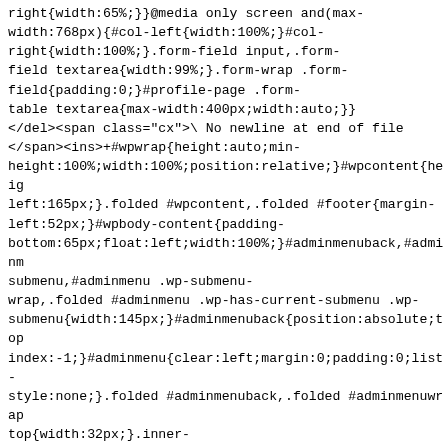right{width:65%;}}@media only screen and(max-width:768px){#col-left{width:100%;}#col-right{width:100%;}.form-field input,.form-field textarea{width:99%;}.form-wrap .form-field{padding:0;}#profile-page .form-table textarea{max-width:400px;width:auto;}}</del><span class="cx">\ No newline at end of file</span><ins>+#wpwrap{height:auto;min-height:100%;width:100%;position:relative;}#wpcontent{height:left:165px;}.folded #wpcontent,.folded #footer{margin-left:52px;}#wpbody-content{padding-bottom:65px;float:left;width:100%;}#adminmenuback,#adminm submenu,#adminmenu .wp-submenu-wrap,.folded #adminmenu .wp-has-current-submenu .wp-submenu{width:145px;}#adminmenuback{position:absolute;top: index:-1;}#adminmenu{clear:left;margin:0;padding:0;list-style:none;}.folded #adminmenuback,.folded #adminmenuwrap top{width:32px;}.inner-sidebar{float:right;clear:right;display:none;min-width:281px;position:relative;}.columns-2 .inner-sidebar{margin-right:auto;width:286px;display:block;}.inner-sidebar #side-sortables,.columns-2 .inner-sidebar #side-sortables{min-height:300px;width:280px;padding:0;}.has-right-sidebar .inner-sidebar{display:block;}.has-right-sidebar #post-body{f
  loat:left;clear:left;width:100%;margin-right:-2000px;}.has-right-sidebar #post-body-content{margin-right:300px;}#post-body-content{min-